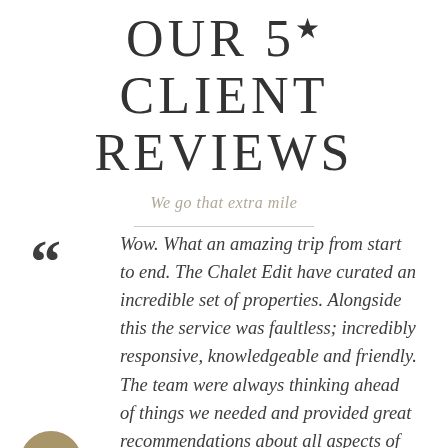OUR 5 STAR CLIENT REVIEWS
We go that extra mile
Wow. What an amazing trip from start to end. The Chalet Edit have curated an incredible set of properties. Alongside this the service was faultless; incredibly responsive, knowledgeable and friendly. The team were always thinking ahead of things we needed and provided great recommendations about all aspects of the holiday from childcare, hire